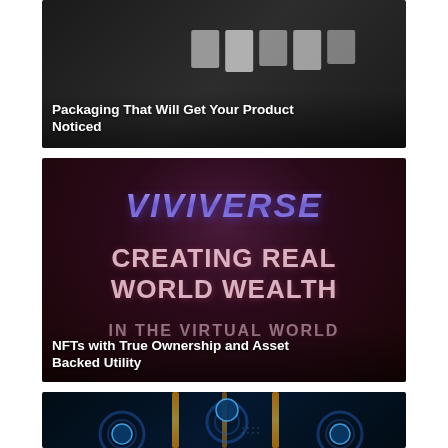[Figure (photo): Dark product packaging photo with white boxes on a dark background]
Packaging That Will Get Your Product Noticed
[Figure (screenshot): Viviverse promotional image: 'VIVIVERSE CREATING REAL WORLD WEALTH IN THE VIRTUAL WORLD' on dark red/purple background]
NFTs with True Ownership and Asset Backed Utility
[Figure (illustration): Dark tech illustration with glowing gears, circuit-style elements, icons on blue circles, and orange vertical light beams]